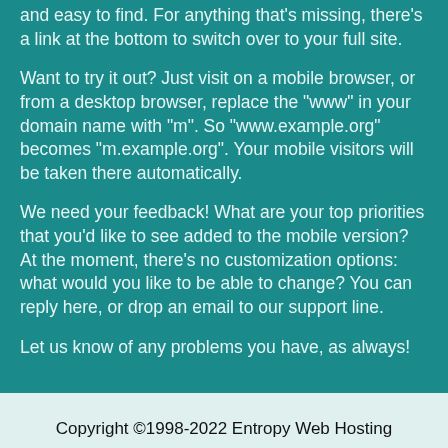and easy to find. For anything that's missing, there's a link at the bottom to switch over to your full site.
Want to try it out? Just visit on a mobile browser, or from a desktop browser, replace the "www" in your domain name with "m". So "www.example.org" becomes "m.example.org". Your mobile visitors will be taken there automatically.
We need your feedback! What are your top priorities that you'd like to see added to the mobile version? At the moment, there's no customization options: what would you like to be able to change? You can reply here, or drop an email to our support line.
Let us know of any problems you have, as always!
Copyright ©1998-2022 Entropy Web Hosting Contact Us - What's New - Privacy Policy - Terms of Service - Acceptable Use Policy